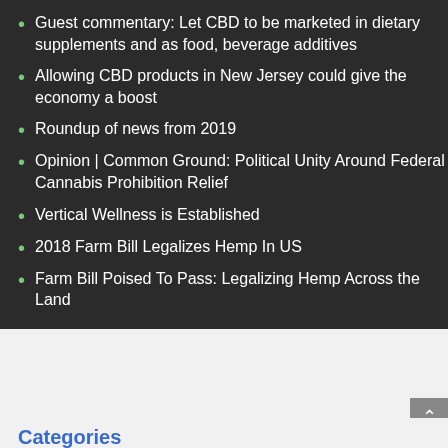Guest commentary: Let CBD to be marketed in dietary supplements and as food, beverage additives
Allowing CBD products in New Jersey could give the economy a boost
Roundup of news from 2019
Opinion | Common Ground: Political Unity Around Federal Cannabis Prohibition Relief
Vertical Wellness is Established
2018 Farm Bill Legalizes Hemp In US
Farm Bill Poised To Pass: Legalizing Hemp Across the Land
Categories
Select Category